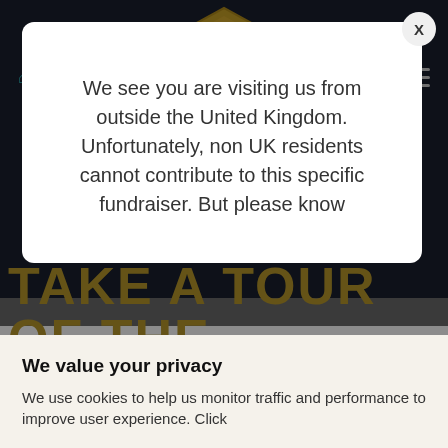[Figure (logo): Omaze Million Pound House Draw logo badge in gold/yellow hexagon shape with house icon]
🏠 / Blog
TAKE A TOUR OF THE
We see you are visiting us from outside the United Kingdom. Unfortunately, non UK residents cannot contribute to this specific fundraiser. But please know
We value your privacy
We use cookies to help us monitor traffic and performance to improve user experience. Click